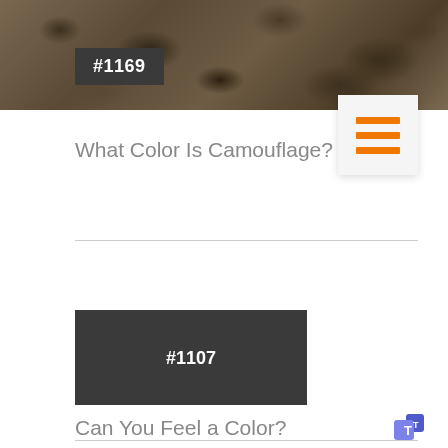[Figure (photo): Camouflage background image with autumn leaves and natural debris in brown/dark tones, with dark badge showing #1169]
What Color Is Camouflage?
[Figure (illustration): Menu hamburger icon with three orange horizontal lines on light gray background]
[Figure (other): Dark gray/black rectangle badge showing #1107]
Can You Feel a Color?
[Figure (logo): Microsoft Teams logo icon in purple/blue]